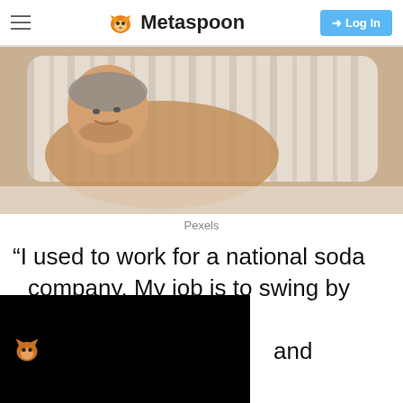Metaspoon — Log In
[Figure (photo): Man lying in bed hugging a striped pillow, smiling, warm tones]
Pexels
“I used to work for a national soda company. My job is to swing by stores and restock the ies in the